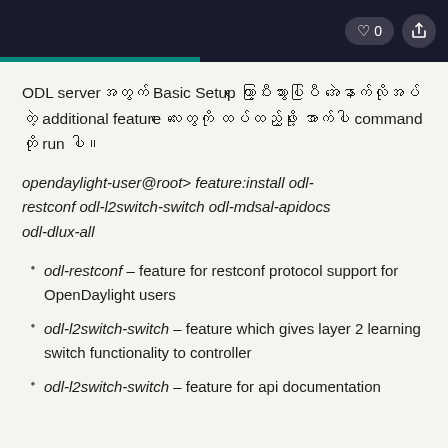♡ 0 [share]
ODL serverအတွက် Basic Setup တော့ပြီးသွားပါပြီ အဲနောက်လိုအပ်တဲ့ additional feature လေးတွေကို ထပ်ထည့်ဖို့ အောက်ပါ command တို run ပါ။
opendaylight-user@root> feature:install odl-restconf odl-l2switch-switch odl-mdsal-apidocs odl-dlux-all
odl-restconf – feature for restconf protocol support for OpenDaylight users
odl-l2switch-switch – feature which gives layer 2 learning switch functionality to controller
odl-l2switch-switch – feature for api documentation